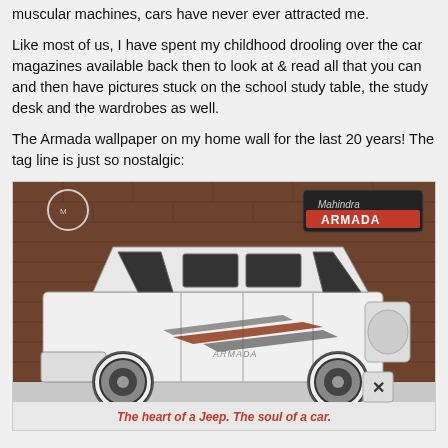muscular machines, cars have never ever attracted me.
Like most of us, I have spent my childhood drooling over the car magazines available back then to look at & read all that you can and then have pictures stuck on the school study table, the study desk and the wardrobes as well.
The Armada wallpaper on my home wall for the last 20 years! The tag line is just so nostalgic:
[Figure (photo): Photo of a Mahindra Armada white SUV/jeep vehicle shown in side profile against a brick wall background. The vehicle has brown/red racing stripes on the side and the text 'ARMADA' written on the door. There is a 'Mahindra ARMADA' logo badge in the upper right. At the bottom, red text reads 'The heart of a Jeep. The soul of a car.' An X close button is visible in the lower right area of the image.]